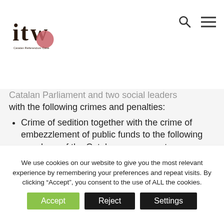[Figure (logo): ITW Catalan Referendum Case logo - dark letters 'itw' with pink/red circular accent and text 'Catalan Referendum Case']
Catalan Parliament and two social leaders with the following crimes and penalties:
Crime of sedition together with the crime of embezzlement of public funds to the following members of the Catalan government:
Oriol Junqueras, Vice-president and Regional Minister of Economy and Treasury of the Catalan government, to 13 years
We use cookies on our website to give you the most relevant experience by remembering your preferences and repeat visits. By clicking "Accept", you consent to the use of ALL the cookies.